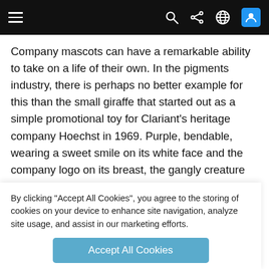[Navigation bar with menu, search, share, globe, and user icons]
Company mascots can have a remarkable ability to take on a life of their own. In the pigments industry, there is perhaps no better example for this than the small giraffe that started out as a simple promotional toy for Clariant’s heritage company Hoechst in 1969. Purple, bendable, wearing a sweet smile on its white face and the company logo on its breast, the gangly creature won the heart of a Hoechst manager from the US, who instantly ordered 20,000 of its like. He also had the idea that the giraffe would be a good item for showing off new or trendy pigments for plastics each year – and the long, colorful history of the long-necked
By clicking “Accept All Cookies”, you agree to the storing of cookies on your device to enhance site navigation, analyze site usage, and assist in our marketing efforts.
Accept All Cookies